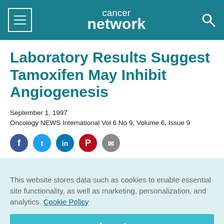cancer network
Laboratory Results Suggest Tamoxifen May Inhibit Angiogenesis
September 1, 1997
Oncology NEWS International Vol 6 No 9, Volume 6, Issue 9
[Figure (infographic): Row of social media share icons: Facebook (dark blue), Twitter (light blue), LinkedIn (dark blue), Pinterest (red), and another icon (grey)]
This website stores data such as cookies to enable essential site functionality, as well as marketing, personalization, and analytics. Cookie Policy
Accept
Deny